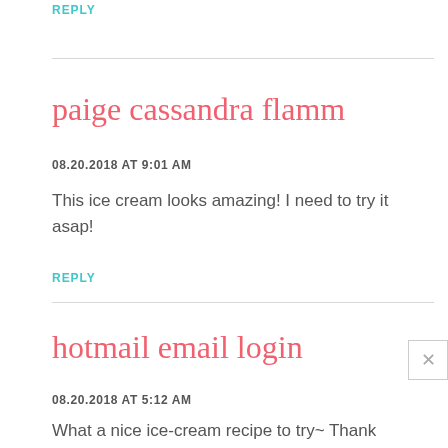REPLY
paige cassandra flamm
08.20.2018 AT 9:01 AM
This ice cream looks amazing! I need to try it asap!
REPLY
hotmail email login
08.20.2018 AT 5:12 AM
What a nice ice-cream recipe to try~ Thank you for sharing!!
REPLY